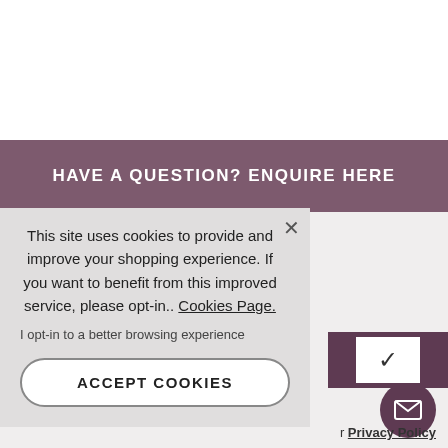HAVE A QUESTION? ENQUIRE HERE
This site uses cookies to provide and improve your shopping experience. If you want to benefit from this improved service, please opt-in.. Cookies Page.
I opt-in to a better browsing experience
ACCEPT COOKIES
Privacy Policy